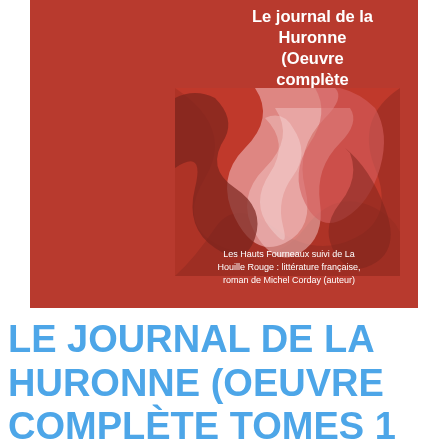[Figure (illustration): Book cover with dark red background, showing title 'Le journal de la Huronne (Oeuvre complète tomes 1 et 2)' in white bold text at top right, a marbled abstract artwork in red and pink tones in the center, and subtitle text 'Les Hauts Fourneaux suivi de La Houille Rouge : littérature française, roman de Michel Corday (auteur)' at the bottom center.]
LE JOURNAL DE LA HURONNE (OEUVRE COMPLÈTE TOMES 1 ET 2):